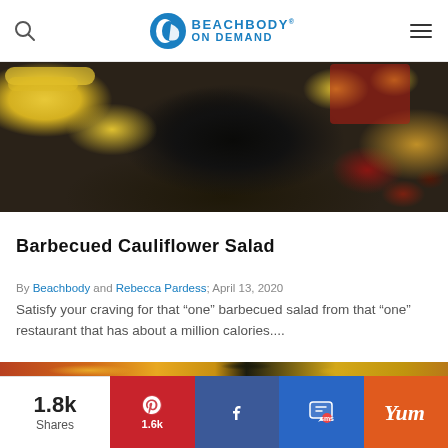Beachbody On Demand
[Figure (photo): Top-down view of a salad bowl with black beans, corn, and red onion on a wooden cutting board]
Barbecued Cauliflower Salad
By Beachbody and Rebecca Pardess; April 13, 2020
Satisfy your craving for that “one” barbecued salad from that “one” restaurant that has about a million calories....
[Figure (photo): Close-up of barbecued cauliflower flatbread topped with corn, black beans, cheese, and cilantro]
1.8k Shares  Pinterest 1.6k  Facebook  SMS  Yum